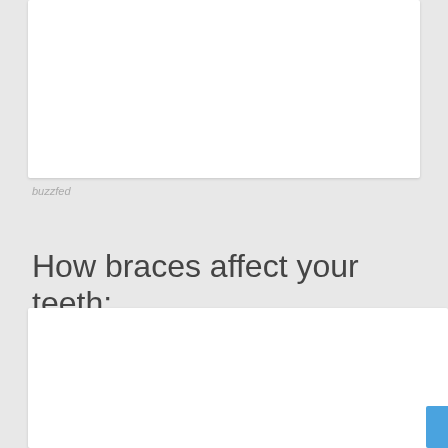[Figure (photo): White card/image placeholder at top of page]
buzzfed
How braces affect your teeth:
[Figure (photo): White card/image placeholder at bottom of page with blue tab on right edge]